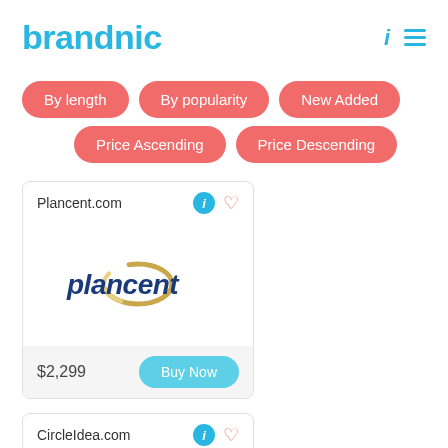brandnic
By length
By popularity
New Added
Price Ascending
Price Descending
Plancent.com
[Figure (logo): Plancent company logo with italic dark blue text 'plancent' and a gold circular swoosh graphic]
$2,299
Buy Now
CircleIdea.com